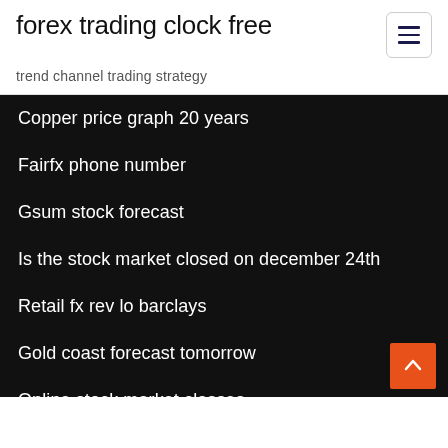forex trading clock free
trend channel trading strategy
Copper price graph 20 years
Fairfx phone number
Gsum stock forecast
Is the stock market closed on december 24th
Retail fx rev lo barclays
Gold coast forecast tomorrow
Online stock market classes
Button click fx
Fx schedule ahs
How much does oil cost per barrel